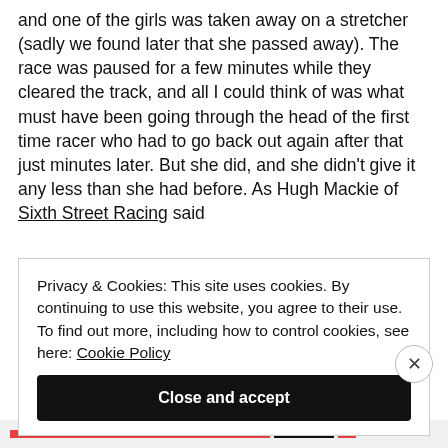and one of the girls was taken away on a stretcher (sadly we found later that she passed away). The race was paused for a few minutes while they cleared the track, and all I could think of was what must have been going through the head of the first time racer who had to go back out again after that just minutes later. But she did, and she didn't give it any less than she had before. As Hugh Mackie of Sixth Street Racing said
Privacy & Cookies: This site uses cookies. By continuing to use this website, you agree to their use. To find out more, including how to control cookies, see here: Cookie Policy
Close and accept